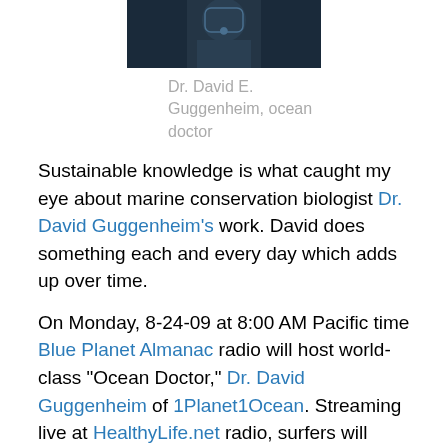[Figure (photo): Partial photo of Dr. David Guggenheim, showing upper body against dark background]
Dr. David E. Guggenheim, ocean doctor
Sustainable knowledge is what caught my eye about marine conservation biologist Dr. David Guggenheim's work. David does something each and every day which adds up over time.
On Monday, 8-24-09 at 8:00 AM Pacific time Blue Planet Almanac radio will host world-class "Ocean Doctor," Dr. David Guggenheim of 1Planet1Ocean. Streaming live at HealthyLife.net radio, surfers will point their Internet browser to that site and click, "Listen Live." HealthyLife.net's over 3 million monthly listeners.